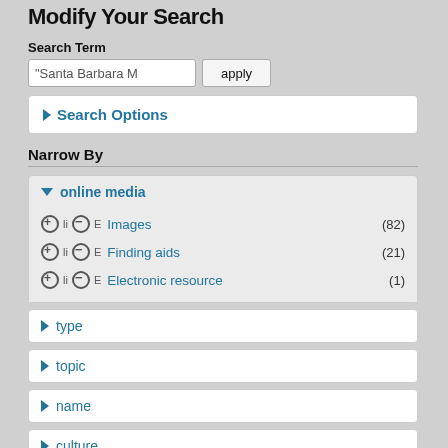Modify Your Search
Search Term
"Santa Barbara M  apply
Search Options
Narrow By
online media
Images (82)
Finding aids (21)
Electronic resource (1)
type
topic
name
culture